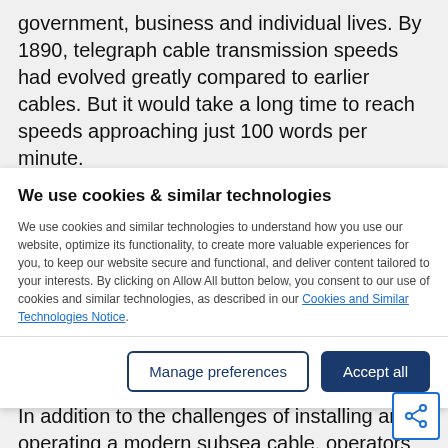government, business and individual lives. By 1890, telegraph cable transmission speeds had evolved greatly compared to earlier cables. But it would take a long time to reach speeds approaching just 100 words per minute.
We use cookies & similar technologies
We use cookies and similar technologies to understand how you use our website, optimize its functionality, to create more valuable experiences for you, to keep our website secure and functional, and deliver content tailored to your interests. By clicking on Allow All button below, you consent to our use of cookies and similar technologies, as described in our Cookies and Similar Technologies Notice.
spread to all corners of the world.
In addition to the challenges of installing and operating a modern subsea cable, operators face the need to meet